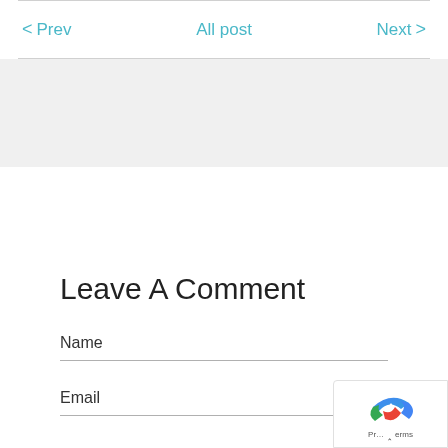< Prev   All post   Next >
Leave A Comment
Name
Email